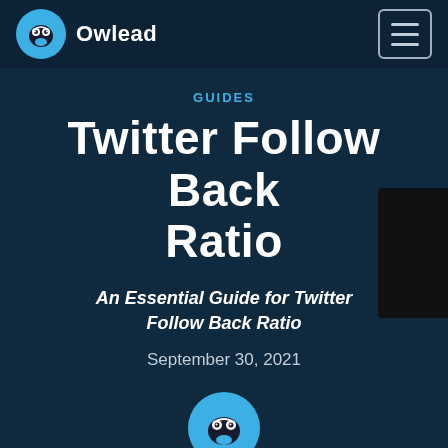Owlead
GUIDES
Twitter Follow Back Ratio
An Essential Guide for Twitter Follow Back Ratio
September 30, 2021
by owlead